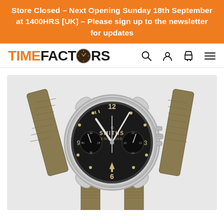Store Closed – Next Opening Sunday 18th September at 1400HRS [UK] – Please sign up to the newsletter for updates
[Figure (logo): Timefactors logo with orange TIME and dark FACTORS text, watch face replacing the O, plus search, user, cart, and menu icons]
[Figure (photo): Close-up photo of a Smiths England military chronograph watch with black dial, cream luminous Arabic numerals, two sub-dials, broad arrow marker, stainless steel case, and olive/khaki NATO strap on a grey background]